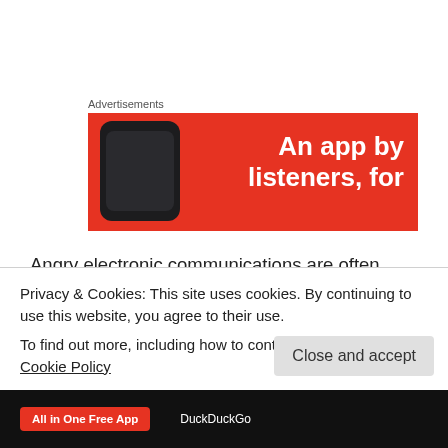Advertisements
[Figure (illustration): Red advertisement banner with white bold text 'An app by listeners, for' and a dark smartphone image on the left]
Angry electronic communications are often used in court to show the inability of two parents to coparent their children, to rebut other testimony or to establish a litigant's state of mind or attitude towards the other party. So long as the text messages are properly transcribed and complete, there is little your attorney can do to prevent them from being shown
Privacy & Cookies: This site uses cookies. By continuing to use this website, you agree to their use.
To find out more, including how to control cookies, see here: Cookie Policy
Close and accept
[Figure (illustration): Bottom advertisement bar with 'All in One Free App' button on red background and DuckDuckGo logo on dark background]